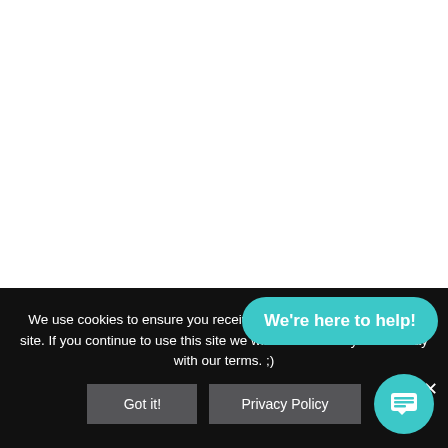[Figure (screenshot): White empty area representing a webpage background]
We use cookies to ensure you receive the best experience on our site. If you continue to use this site we will assume that you are okay with our terms. ;)
[Figure (other): Got it! button - dark gray button]
[Figure (other): Privacy Policy button - dark gray button]
[Figure (other): We're here to help! teal chat bubble button]
[Figure (other): Teal circular chat icon with message icon]